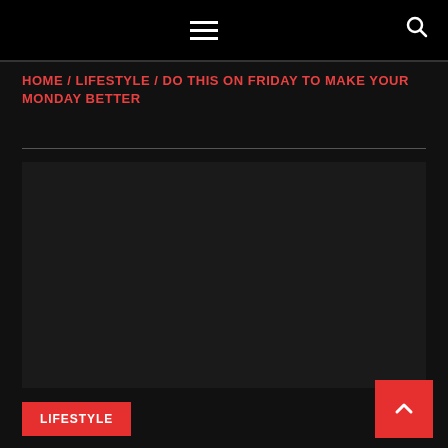Navigation bar with hamburger menu and search icon
HOME / LIFESTYLE / DO THIS ON FRIDAY TO MAKE YOUR MONDAY BETTER
[Figure (other): Large dark image area placeholder]
LIFESTYLE
[Figure (other): Scroll to top button with upward chevron arrow on red background]